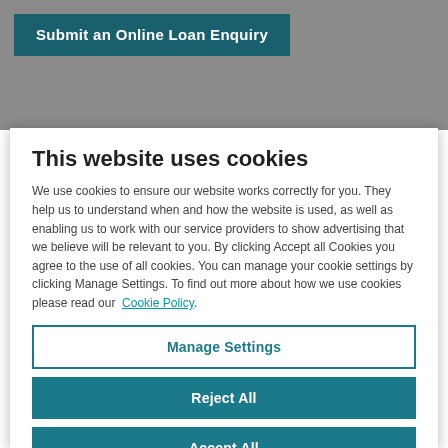[Figure (screenshot): Gray website background with teal 'Submit an Online Loan Enquiry' button]
This website uses cookies
We use cookies to ensure our website works correctly for you. They help us to understand when and how the website is used, as well as enabling us to work with our service providers to show advertising that we believe will be relevant to you. By clicking Accept all Cookies you agree to the use of all cookies. You can manage your cookie settings by clicking Manage Settings. To find out more about how we use cookies please read our Cookie Policy.
Manage Settings
Reject All
Accept All